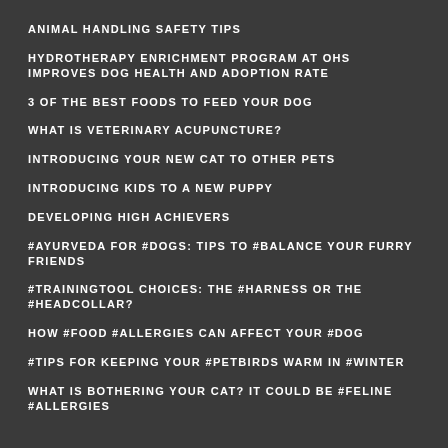ANIMAL HANDLING SAFETY TIPS
HYDROTHERAPY ENRICHMENT PROGRAM AT OHS IMPROVES DOG HEALTH AND ADOPTION RATE
3 OF THE BEST FOODS TO FEED YOUR DOG
WHAT IS VETERINARY ACUPUNCTURE?
INTRODUCING YOUR NEW CAT TO OTHER PETS
INTRODUCING KIDS TO A NEW PUPPY
DEVELOPING HIGH ACHIEVERS
#AYURVEDA FOR #DOGS: TIPS TO #BALANCE YOUR FURRY FRIENDS
#TRAININGTOOL CHOICES: THE #HARNESS OR THE #HEADCOLLAR?
HOW #FOOD #ALLERGIES CAN AFFECT YOUR #DOG
#TIPS FOR KEEPING YOUR #PETBIRDS WARM IN #WINTER
WHAT IS BOTHERING YOUR CAT? IT COULD BE #FELINE #ALLERGIES